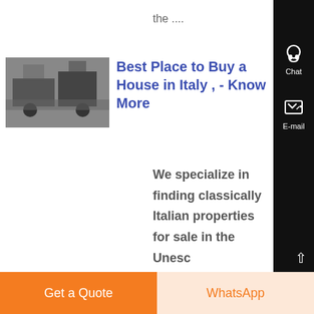the ....
[Figure (photo): Small thumbnail image of machinery/trucks at a construction or industrial site]
Best Place to Buy a House in Italy , - Know More
We specialize in finding classically Italian properties for sale in the Unesco World Heritage protected regions of Piedmont We also guide clients who have already found a house through the House Buying Process We moved here several years ago and in the process discovered a serious need for anyone looking to find and buy a house in Italy.
Get a Quote
WhatsApp